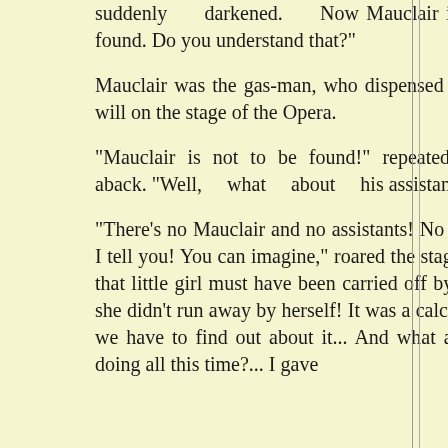suddenly darkened. Now Mauclair is nowhere to be found. Do you understand that?"

Mauclair was the gas-man, who dispensed day and night at will on the stage of the Opera.

"Mauclair is not to be found!" repeated Mercier, taken aback. "Well, what about his assistants?"

"There's no Mauclair and no assistants! No one at the lights, I tell you! You can imagine," roared the stage-manager, "that that little girl must have been carried off by somebody else: she didn't run away by herself! It was a calculated stroke and we have to find out about it... And what are the managers doing all this time?... I gave